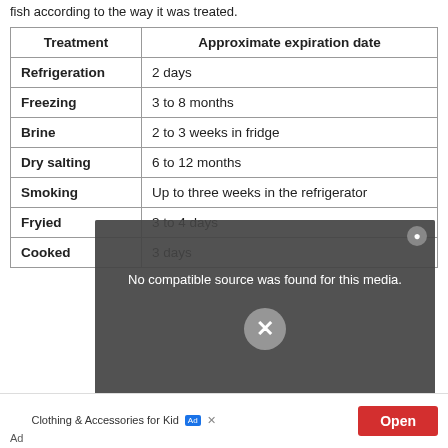fish according to the way it was treated.
| Treatment | Approximate expiration date |
| --- | --- |
| Refrigeration | 2 days |
| Freezing | 3 to 8 months |
| Brine | 2 to 3 weeks in fridge |
| Dry salting | 6 to 12 months |
| Smoking | Up to three weeks in the refrigerator |
| Fryied | 3 to 4 days |
| Cooked | 3 days |
[Figure (screenshot): Video player overlay showing 'No compatible source was found for this media.' message with an X close button and a circular X dismiss button, overlaid on a kitchen cooking video background.]
Clothing & Accessories for Kid
Ad
Open